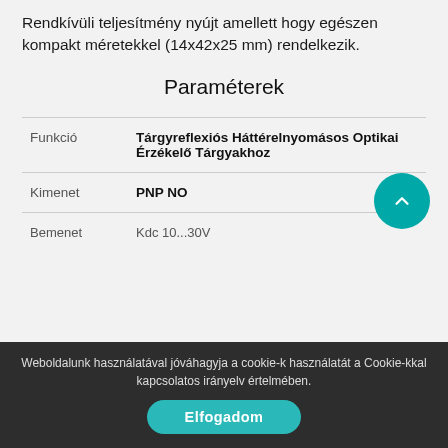Rendkívüli teljesítmény nyújt amellett hogy egészen kompakt méretekkel (14x42x25 mm) rendelkezik.
Paraméterek
|  |  |
| --- | --- |
| Funkció | Tárgyreflexiós Háttérelnyomásos Optikai Érzékelő Tárgyakhoz |
| Kimenet | PNP NO |
| Bemenet | Kdc 10...30V |
Weboldalunk használatával jóváhagyja a cookie-k használatát a Cookie-kkal kapcsolatos irányelv értelmében.